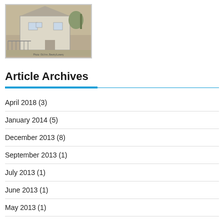[Figure (photo): Old black and white photograph of a house with a fence and people outside]
Article Archives
April 2018 (3)
January 2014 (5)
December 2013 (8)
September 2013 (1)
July 2013 (1)
June 2013 (1)
May 2013 (1)